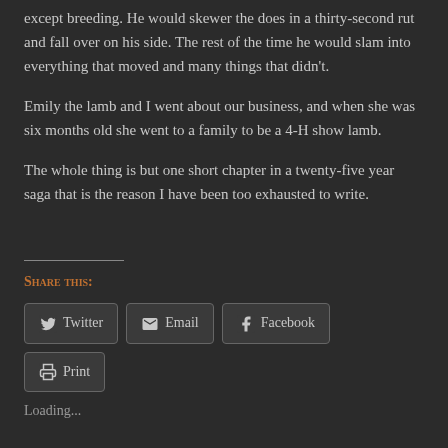except breeding.  He would skewer the does in a thirty-second rut and fall over on his side.  The rest of the time he would slam into everything that moved and many things that didn't.
Emily the lamb and I went about our business, and when she was six months old she went to a family to be a 4-H show lamb.
The whole thing is but one short chapter in a twenty-five year saga that is the reason I have been too exhausted to write.
Share this:
Twitter  Email  Facebook  Print
Loading...